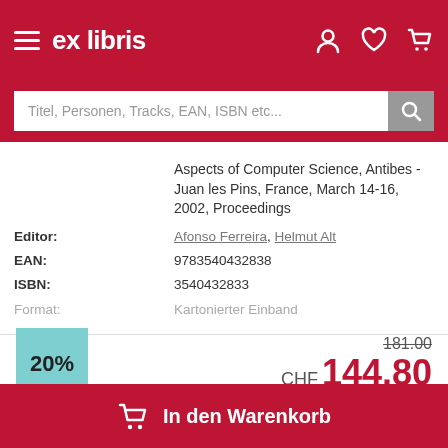ex libris
Titel, Personen, Tracks, EAN, ISBN etc...
Aspects of Computer Science, Antibes - Juan les Pins, France, March 14-16, 2002, Proceedings
| Field | Value |
| --- | --- |
| Editor: | Afonso Ferreira, Helmut Alt |
| EAN: | 9783540432838 |
| ISBN: | 3540432833 |
| Format: | Kartonierter Einband |
20%
181.00
CHF 144.80
In den Warenkorb